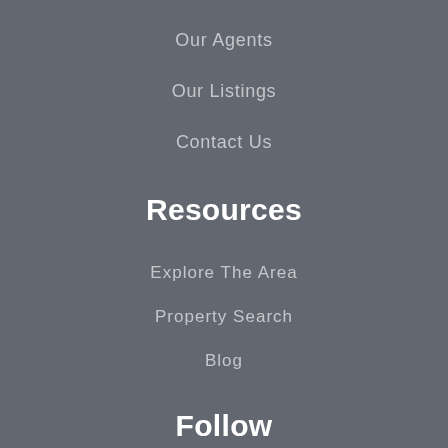Our Agents
Our Listings
Contact Us
Resources
Explore The Area
Property Search
Blog
Follow
[Figure (illustration): Social media icons: Facebook, Instagram, LinkedIn]